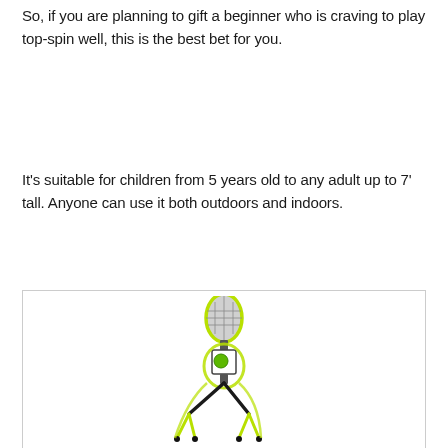So, if you are planning to gift a beginner who is craving to play top-spin well, this is the best bet for you.
It's suitable for children from 5 years old to any adult up to 7' tall. Anyone can use it both outdoors and indoors.
[Figure (photo): A tennis training aid device with a racket-shaped paddle at the top (with yellow-green outline), a ball tethered in the middle, a tripod-like stand with black and yellow-green legs at the bottom.]